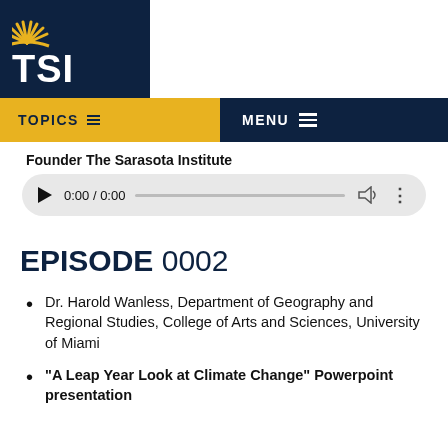[Figure (logo): TSI (The Sarasota Institute) logo with sun icon on dark navy background]
TOPICS   MENU
Founder The Sarasota Institute
[Figure (screenshot): Audio player showing 0:00 / 0:00 with play button, progress bar, volume and options icons]
EPISODE 0002
Dr. Harold Wanless, Department of Geography and Regional Studies, College of Arts and Sciences, University of Miami
“A Leap Year Look at Climate Change” Powerpoint presentation